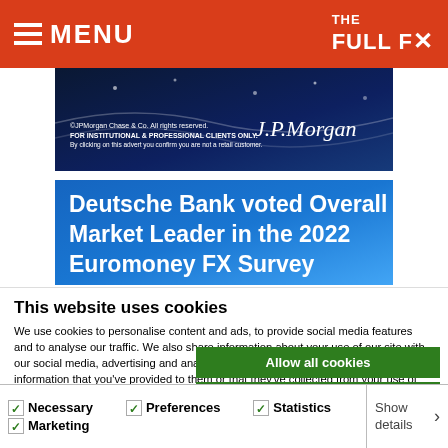THE FULL FX — MENU
[Figure (screenshot): J.P. Morgan dark navy advertisement banner with white text: ©JPMorgan Chase & Co. All rights reserved. FOR INSTITUTIONAL & PROFESSIONAL CLIENTS ONLY. By clicking on this advert you confirm you are not a retail customer. J.P.Morgan logo on right.]
[Figure (screenshot): Deutsche Bank blue advertisement banner with white text: Deutsche Bank voted Overall Market Leader in the 2022 Euromoney FX Survey]
This website uses cookies
We use cookies to personalise content and ads, to provide social media features and to analyse our traffic. We also share information about your use of our site with our social media, advertising and analytics partners who may combine it with other information that you've provided to them or that they've collected from your use of their services.
Allow all cookies
Allow selection
Use necessary cookies only
Necessary  Preferences  Statistics  Marketing  Show details